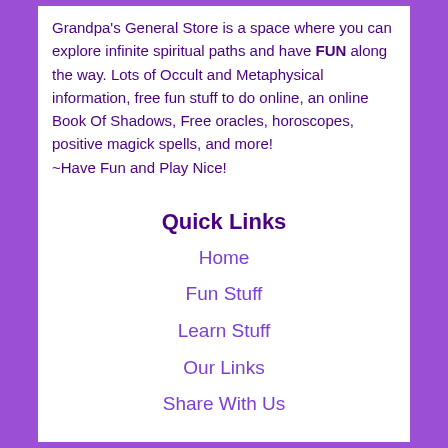Grandpa's General Store is a space where you can explore infinite spiritual paths and have FUN along the way. Lots of Occult and Metaphysical information, free fun stuff to do online, an online Book Of Shadows, Free oracles, horoscopes, positive magick spells, and more!
~Have Fun and Play Nice!
Quick Links
Home
Fun Stuff
Learn Stuff
Our Links
Share With Us
Website Links